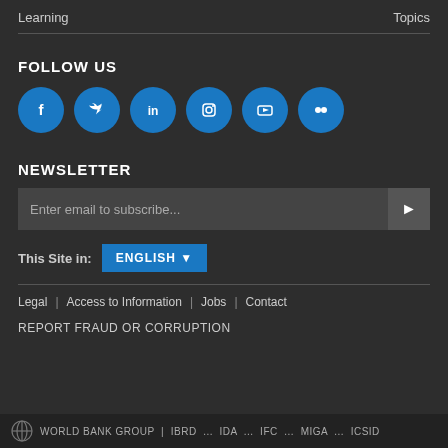Learning    Topics
FOLLOW US
[Figure (infographic): Row of six blue circular social media icons: Facebook, Twitter, LinkedIn, Instagram, YouTube, Flickr]
NEWSLETTER
Enter email to subscribe...
This Site in:  ENGLISH ▼
Legal | Access to Information | Jobs | Contact
REPORT FRAUD OR CORRUPTION
WORLD BANK GROUP | IBRD ... IDA ... IFC ... MIGA ... ICSID